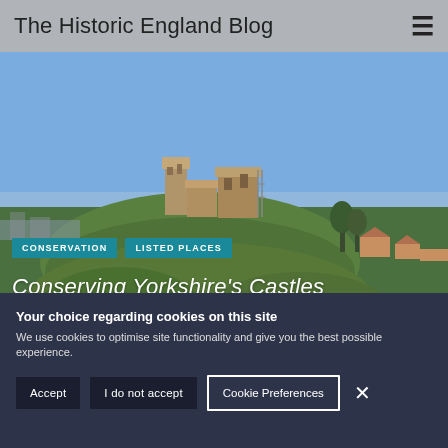The Historic England Blog
[Figure (photo): Aerial view of castle ruins on a green mound with blue sky, Yorkshire, UK]
CONSERVATION   LISTED PLACES
Conserving Yorkshire’s Castles
BY HISTORIC ENGLAND
1 AUGUST 2019
COMMENTS 0
Your choice regarding cookies on this site
We use cookies to optimise site functionality and give you the best possible experience.
Accept   I do not accept   Cookie Preferences